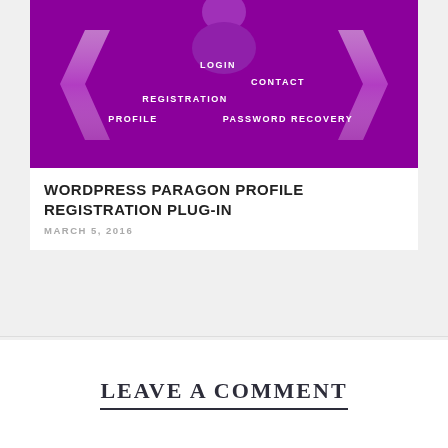[Figure (screenshot): Purple background UI screenshot showing navigation menu items: LOGIN, CONTACT, REGISTRATION, PROFILE, PASSWORD RECOVERY, with decorative chevron arrows on left and right sides and a figure/avatar at top]
WORDPRESS PARAGON PROFILE REGISTRATION PLUG-IN
MARCH 5, 2016
LEAVE A COMMENT